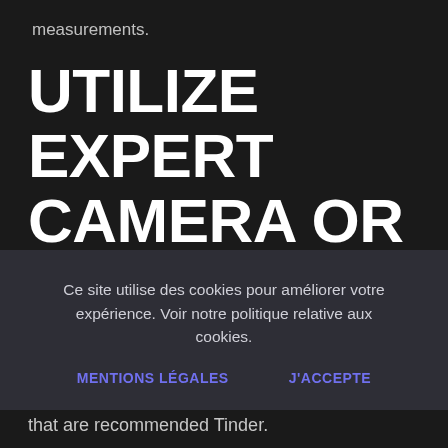measurements.
UTILIZE EXPERT CAMERA OR CAMERA MOBILE
Whenever using pictures with the iPhone and Android on the — TM — a choice to just
Ce site utilise des cookies pour améliorer votre expérience. Voir notre politique relative aux cookies.
MENTIONS LÉGALES    J'accepte
that are recommended Tinder.